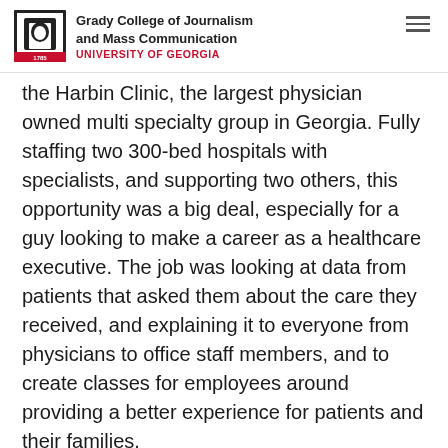Grady College of Journalism and Mass Communication UNIVERSITY OF GEORGIA
the Harbin Clinic, the largest physician owned multi specialty group in Georgia. Fully staffing two 300-bed hospitals with specialists, and supporting two others, this opportunity was a big deal, especially for a guy looking to make a career as a healthcare executive. The job was looking at data from patients that asked them about the care they received, and explaining it to everyone from physicians to office staff members, and to create classes for employees around providing a better experience for patients and their families.
The third and final round, as the COO explained to me, was giving a presentation of any topic of my choosing to a group of executives, directors and practice managers. What an opportunity! What a dilemma. Should I play it